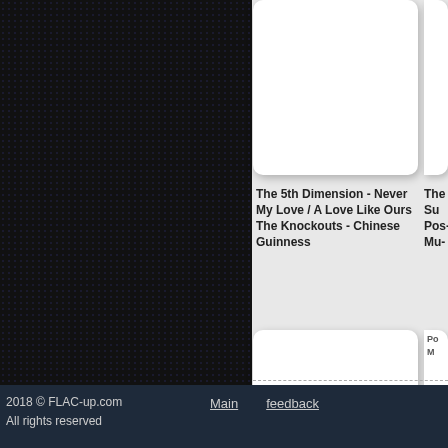[Figure (screenshot): Music catalog page from FLAC-up.com showing album thumbnails in a grid layout. Left side has dark dotted background. Right side shows white album cards with titles.]
The 5th Dimension - Never My Love / A Love Like Ours
The Kn... Sum...
The Knockouts - Chinese Guinness
Pos- Mu-
2018 © FLAC-up.com
All rights reserved
Main
feedback